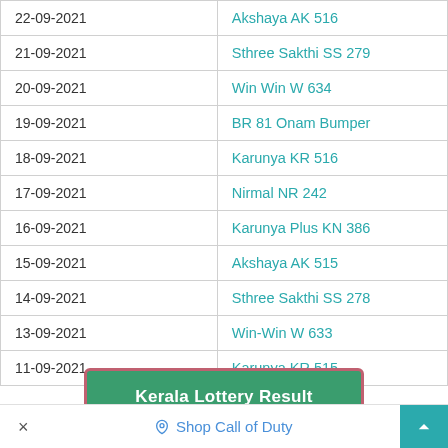| Date | Lottery Name |
| --- | --- |
| 22-09-2021 | Akshaya AK 516 |
| 21-09-2021 | Sthree Sakthi SS 279 |
| 20-09-2021 | Win Win W 634 |
| 19-09-2021 | BR 81 Onam Bumper |
| 18-09-2021 | Karunya KR 516 |
| 17-09-2021 | Nirmal NR 242 |
| 16-09-2021 | Karunya Plus KN 386 |
| 15-09-2021 | Akshaya AK 515 |
| 14-09-2021 | Sthree Sakthi SS 278 |
| 13-09-2021 | Win-Win W 633 |
| 11-09-2021 | Karunya KR 515 |
Kerala Lottery Result
× Shop Call of Duty ▲